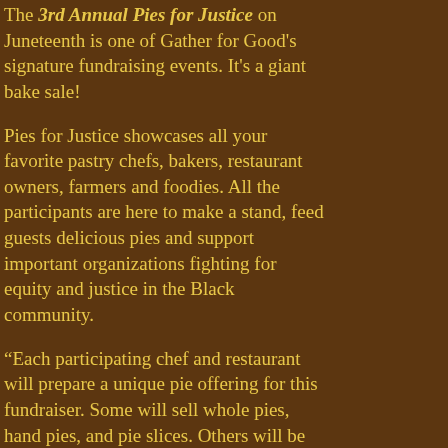The 3rd Annual Pies for Justice on Juneteenth is one of Gather for Good's signature fundraising events. It's a giant bake sale!
Pies for Justice showcases all your favorite pastry chefs, bakers, restaurant owners, farmers and foodies. All the participants are here to make a stand, feed guests delicious pies and support important organizations fighting for equity and justice in the Black community.
“Each participating chef and restaurant will prepare a unique pie offering for this fundraiser. Some will sell whole pies, hand pies, and pie slices. Others will be hosting raffles!” All the info is on the Gather for Good Website. Click on the Pies for Justice” tab.